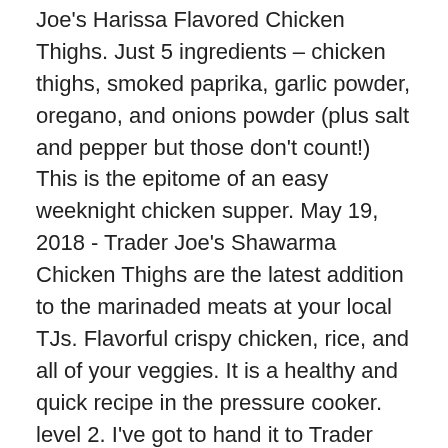Joe's Harissa Flavored Chicken Thighs. Just 5 ingredients – chicken thighs, smoked paprika, garlic powder, oregano, and onions powder (plus salt and pepper but those don't count!) This is the epitome of an easy weeknight chicken supper. May 19, 2018 - Trader Joe's Shawarma Chicken Thighs are the latest addition to the marinaded meats at your local TJs. Flavorful crispy chicken, rice, and all of your veggies. It is a healthy and quick recipe in the pressure cooker. level 2. I've got to hand it to Trader Joe's Chickenless Crispy Tenders â they're some of the best fake meat I've had to date. ... Update: I made the balsamic rosemary steak tips in the air fryer and they came out great! The most important thing is to make sure that the cooked chicken must reach an internal temperature of 165F / 75 C before serving. As you guys know, I LOVE Trader Joe's. 0 1 10. The frozen chicken breast will need